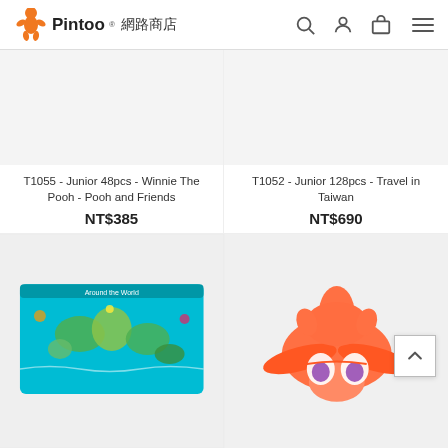Pintoo 網路商店
T1055 - Junior 48pcs - Winnie The Pooh - Pooh and Friends
NT$385
T1052 - Junior 128pcs - Travel in Taiwan
NT$690
[Figure (photo): World map puzzle - Around the World - colorful teal/turquoise puzzle showing illustrated world map with cultural icons]
[Figure (photo): Orange/coral colored airplane toy with cartoon face resembling a Big Hero character]